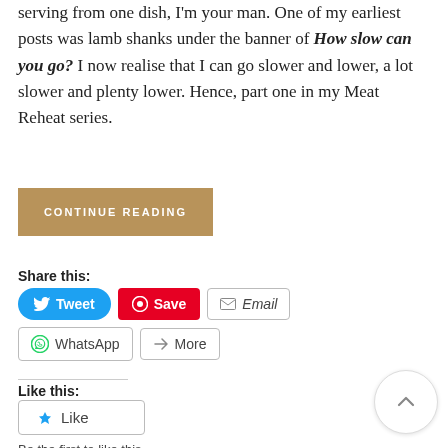serving from one dish, I'm your man. One of my earliest posts was lamb shanks under the banner of How slow can you go? I now realise that I can go slower and lower, a lot slower and plenty lower. Hence, part one in my Meat Reheat series.
CONTINUE READING
Share this:
Tweet Save Email WhatsApp More
Like this:
Like
Be the first to like this.